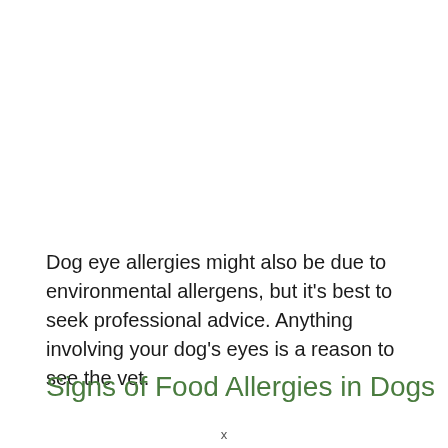Dog eye allergies might also be due to environmental allergens, but it's best to seek professional advice. Anything involving your dog's eyes is a reason to see the vet.
Signs of Food Allergies in Dogs
x